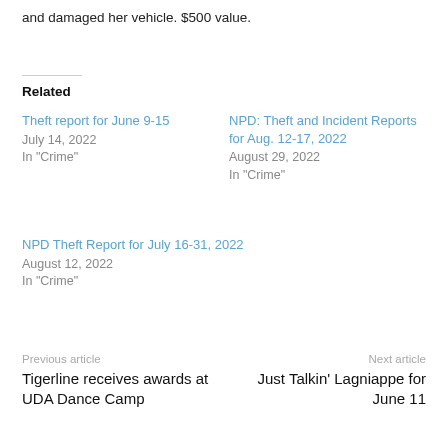and damaged her vehicle. $500 value.
Related
Theft report for June 9-15
July 14, 2022
In "Crime"
NPD: Theft and Incident Reports for Aug. 12-17, 2022
August 29, 2022
In "Crime"
NPD Theft Report for July 16-31, 2022
August 12, 2022
In "Crime"
Previous article
Tigerline receives awards at UDA Dance Camp
Next article
Just Talkin' Lagniappe for June 11